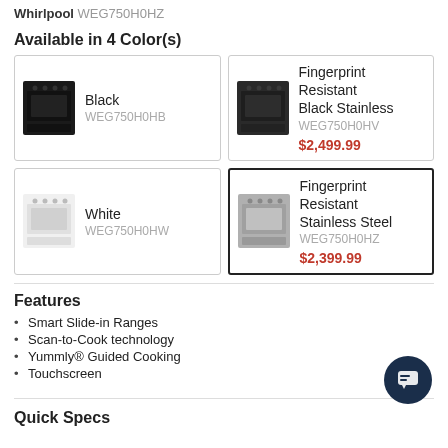Whirlpool WEG750H0HZ
Available in 4 Color(s)
| Black | WEG750H0HB |  |
| Fingerprint Resistant Black Stainless | WEG750H0HV | $2,499.99 |
| White | WEG750H0HW |  |
| Fingerprint Resistant Stainless Steel | WEG750H0HZ | $2,399.99 |
Features
Smart Slide-in Ranges
Scan-to-Cook technology
Yummly® Guided Cooking
Touchscreen
Quick Specs